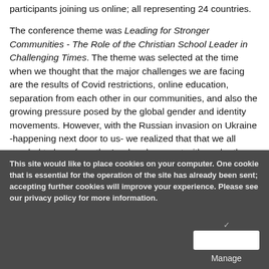participants joining us online; all representing 24 countries.
The conference theme was Leading for Stronger Communities - The Role of the Christian School Leader in Challenging Times. The theme was selected at the time when we thought that the major challenges we are facing are the results of Covid restrictions, online education, separation from each other in our communities, and also the growing pressure posed by the global gender and identity movements. However, with the Russian invasion on Ukraine -happening next door to us- we realized that that we all needed to hear from the Lord and connect with each other, share our hearts, concerns and prayers with
This site would like to place cookies on your computer. One cookie that is essential for the operation of the site has already been sent; accepting further cookies will improve your experience. Please see our privacy policy for more information.